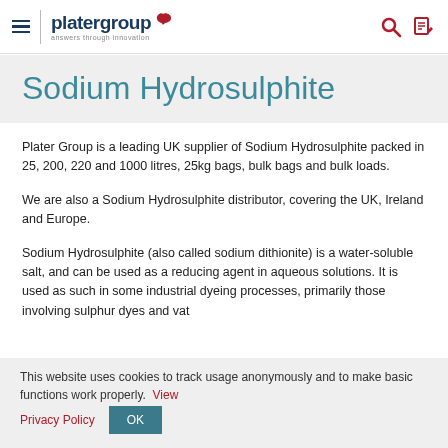platergroup — answers through innovation
Sodium Hydrosulphite
Plater Group is a leading UK supplier of Sodium Hydrosulphite packed in 25, 200, 220 and 1000 litres, 25kg bags, bulk bags and bulk loads.
We are also a Sodium Hydrosulphite distributor, covering the UK, Ireland and Europe.
Sodium Hydrosulphite (also called sodium dithionite) is a water-soluble salt, and can be used as a reducing agent in aqueous solutions. It is used as such in some industrial dyeing processes, primarily those involving sulphur dyes and vat dyes. It is also used in processes involving sodium hydrosulphite as an eliminating excess dye residue and unintended pigments, thereby
This website uses cookies to track usage anonymously and to make basic functions work properly. View Privacy Policy OK